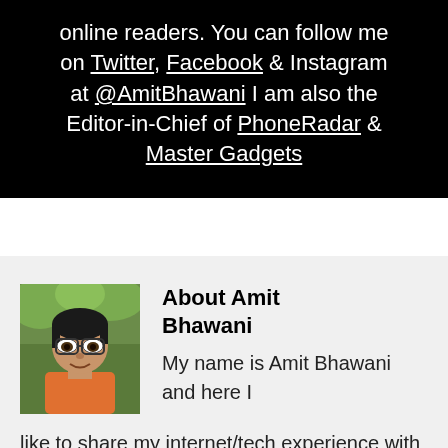online readers. You can follow me on Twitter, Facebook & Instagram at @AmitBhawani I am also the Editor-in-Chief of PhoneRadar & Master Gadgets
[Figure (photo): Portrait photo of Amit Bhawani, a man with glasses wearing an orange shirt, with green foliage background]
About Amit Bhawani
My name is Amit Bhawani and here I like to share my internet/tech experience with my online readers. You can follow me on